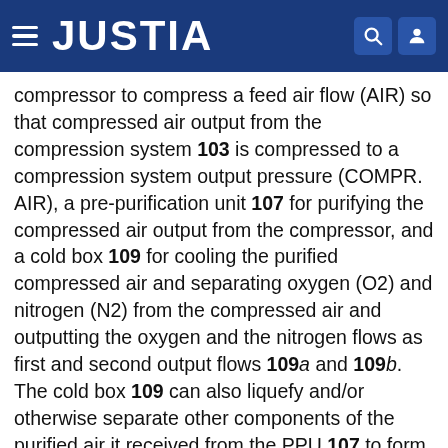JUSTIA
compressor to compress a feed air flow (AIR) so that compressed air output from the compression system 103 is compressed to a compression system output pressure (COMPR. AIR), a pre-purification unit 107 for purifying the compressed air output from the compressor, and a cold box 109 for cooling the purified compressed air and separating oxygen (O2) and nitrogen (N2) from the compressed air and outputting the oxygen and the nitrogen flows as first and second output flows 109a and 109b. The cold box 109 can also liquefy and/or otherwise separate other components of the purified air it received from the PPU 107 to form output flows to other gases, such as argon gas, for example. These output flows can be fed to the gasification section 111 of the plant 100. In some embodiments, at least portions of these output flows from the cold box 100 can also be utilized to form